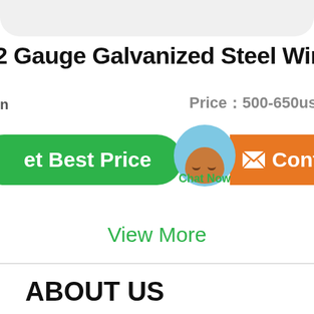2 Gauge Galvanized Steel Wire
Price：500-650usd/t
Get Best Price
Chat Now
Contact
View More
ABOUT US